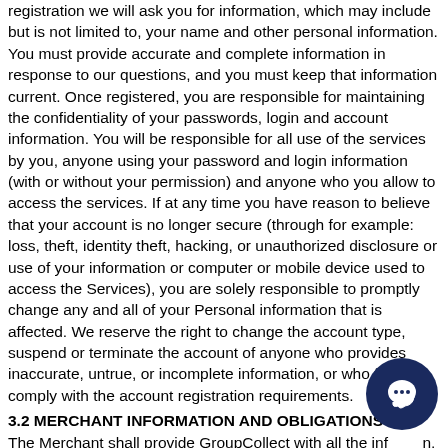registration we will ask you for information, which may include but is not limited to, your name and other personal information. You must provide accurate and complete information in response to our questions, and you must keep that information current. Once registered, you are responsible for maintaining the confidentiality of your passwords, login and account information. You will be responsible for all use of the services by you, anyone using your password and login information (with or without your permission) and anyone who you allow to access the services. If at any time you have reason to believe that your account is no longer secure (through for example: loss, theft, identity theft, hacking, or unauthorized disclosure or use of your information or computer or mobile device used to access the Services), you are solely responsible to promptly change any and all of your Personal information that is affected. We reserve the right to change the account type, suspend or terminate the account of anyone who provides inaccurate, untrue, or incomplete information, or who fails to comply with the account registration requirements.
3.2 MERCHANT INFORMATION AND OBLIGATIONS
The Merchant shall provide GroupCollect with all the information, approvals, powers of attorney and other documents and